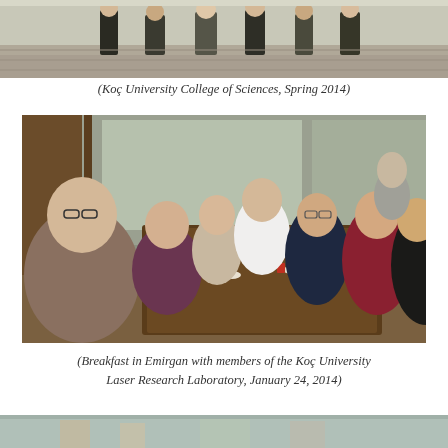[Figure (photo): Group photo at Koç University College of Sciences, Spring 2014 - partial view showing people standing on steps]
(Koç University College of Sciences, Spring 2014)
[Figure (photo): Group of people having breakfast in Emirgan seated around a wooden table in a restaurant/café setting, January 24, 2014]
(Breakfast in Emirgan with members of the Koç University Laser Research Laboratory, January 24, 2014)
[Figure (photo): Partial view of another group photo - bottom cropped]